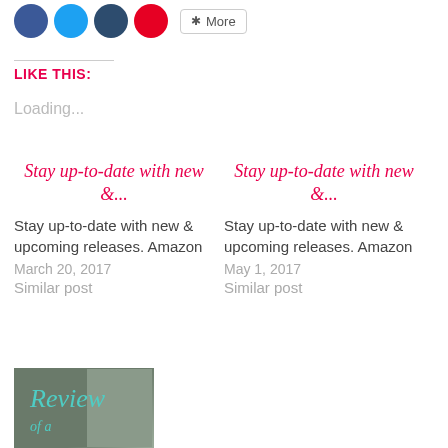[Figure (other): Social media sharing icons: Facebook (blue circle), Twitter (light blue circle), Tumblr (dark blue circle), Pinterest (red circle), and a More button]
LIKE THIS:
Loading...
Stay up-to-date with new &...
Stay up-to-date with new & upcoming releases. Amazon
March 20, 2017
Similar post
Stay up-to-date with new &...
Stay up-to-date with new & upcoming releases. Amazon
May 1, 2017
Similar post
[Figure (photo): Review image thumbnail with cursive 'Review' text overlay on a dark background]